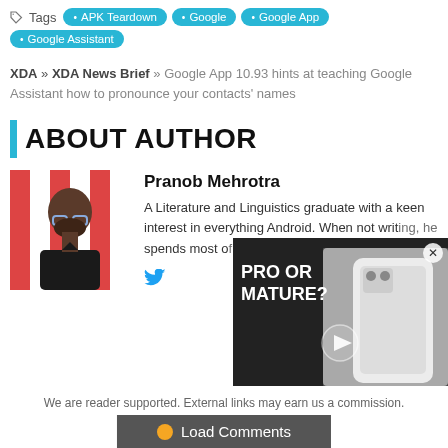Tags  APK Teardown  Google  Google App  Google Assistant
XDA » XDA News Brief » Google App 10.93 hints at teaching Google Assistant how to pronounce your contacts' names
ABOUT AUTHOR
Pranob Mehrotra
A Literature and Linguistics graduate with a keen interest in everything Android. When not writing, he spends most of his time in League of Leg...
[Figure (photo): Portrait photo of author Pranob Mehrotra]
[Figure (screenshot): Video overlay showing 'PRO OR MATURE?' with a white phone image and play button]
We are reader supported. External links may earn us a commission.
Load Comments